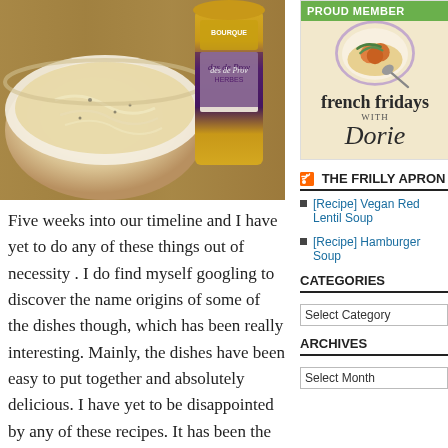[Figure (photo): Photo of a bowl of creamy soup with noodles and a jar of herbes de Provence on a wooden surface]
Five weeks into our timeline and I have yet to do any of these things out of necessity . I do find myself googling to discover the name origins of some of the dishes though, which has been really interesting. Mainly, the dishes have been easy to put together and absolutely delicious. I have yet to be disappointed by any of these recipes. It has been the complete opposite, actually.
As an added bonus for me, I got to use both herbes de provence and my mandolin today!
[Figure (illustration): French Fridays with Dorie proud member badge with illustrated bowl of food]
THE FRILLY APRON
[Recipe] Vegan Red Lentil Soup
[Recipe] Hamburger Soup
CATEGORIES
Select Category
ARCHIVES
Select Month